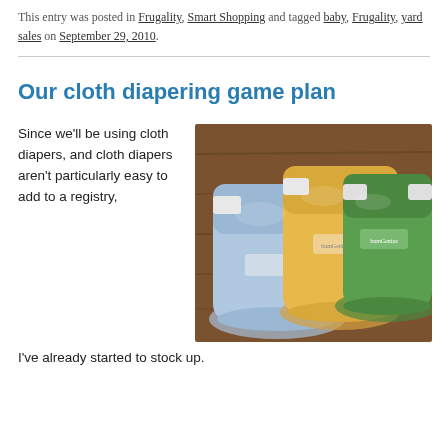This entry was posted in Frugality, Smart Shopping and tagged baby, Frugality, yard sales on September 29, 2010.
Our cloth diapering game plan
Since we'll be using cloth diapers, and cloth diapers aren't particularly easy to add to a registry, I've already started to stock up.
[Figure (photo): Three cloth diapers (blue, orange/yellow, and green) stacked together on a wooden surface, showing velcro closures and elastic leg openings.]